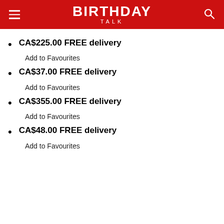BIRTHDAY TALK
CA$225.00 FREE delivery
Add to Favourites
CA$37.00 FREE delivery
Add to Favourites
CA$355.00 FREE delivery
Add to Favourites
CA$48.00 FREE delivery
Add to Favourites